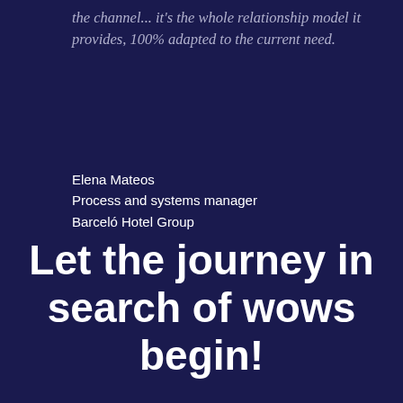the channel... it's the whole relationship model it provides, 100% adapted to the current need.
Elena Mateos
Process and systems manager
Barceló Hotel Group
Let the journey in search of wows begin!